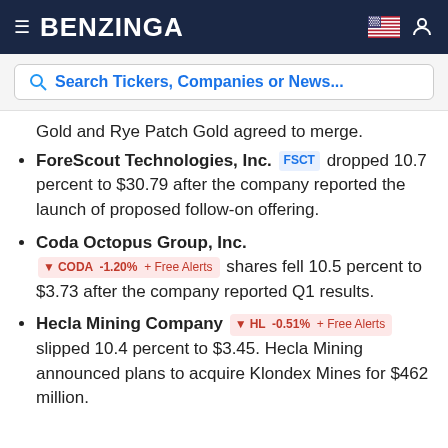BENZINGA
Search Tickers, Companies or News...
Gold and Rye Patch Gold agreed to merge.
ForeScout Technologies, Inc. FSCT dropped 10.7 percent to $30.79 after the company reported the launch of proposed follow-on offering.
Coda Octopus Group, Inc. CODA -1.20% + Free Alerts shares fell 10.5 percent to $3.73 after the company reported Q1 results.
Hecla Mining Company HL -0.51% + Free Alerts slipped 10.4 percent to $3.45. Hecla Mining announced plans to acquire Klondex Mines for $462 million.